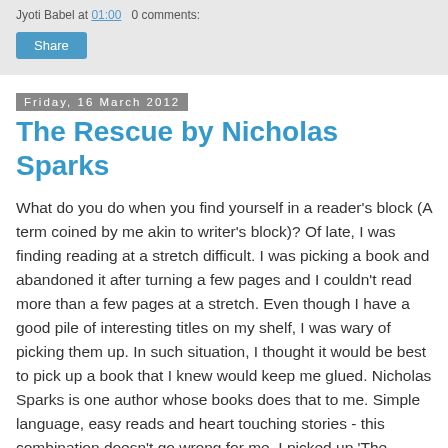Jyoti Babel at 01:00   0 comments:
Share
Friday, 16 March 2012
The Rescue by Nicholas Sparks
What do you do when you find yourself in a reader's block (A term coined by me akin to writer's block)? Of late, I was finding reading at a stretch difficult. I was picking a book and abandoned it after turning a few pages and I couldn't read more than a few pages at a stretch. Even though I have a good pile of interesting titles on my shelf, I was wary of picking them up. In such situation, I thought it would be best to pick up a book that I knew would keep me glued. Nicholas Sparks is one author whose books does that to me. Simple language, easy reads and heart touching stories - this combination doesn't go wrong for me. I picked up 'The Rescue' by Nicholas Sparks to get myself in reading mood and the book lived up to my expectation.
The book has all elements of typical Sparks book - love,